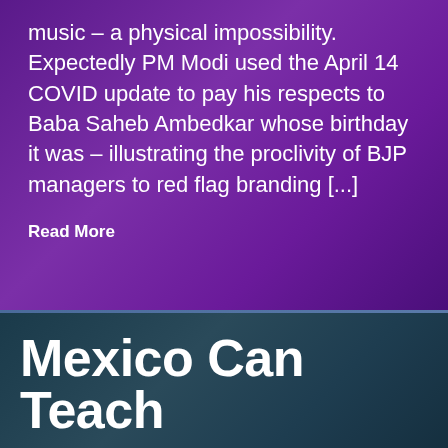music – a physical impossibility. Expectedly PM Modi used the April 14 COVID update to pay his respects to Baba Saheb Ambedkar whose birthday it was – illustrating the proclivity of BJP managers to red flag branding [...]
Read More
Mexico Can Teach